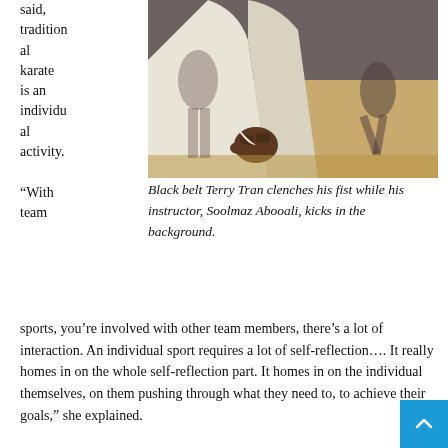said, traditional karate is an individual activity.
[Figure (photo): Close-up photo of Black belt Terry Tran clenching his fist in a white karate uniform, with instructor Soolmaz Abooali kicking in the background in a gym setting.]
Black belt Terry Tran clenches his fist while his instructor, Soolmaz Abooali, kicks in the background.
“With team sports, you’re involved with other team members, there’s a lot of interaction. An individual sport requires a lot of self-reflection…. It really homes in on the whole self-reflection part. It homes in on the individual themselves, on them pushing through what they need to, to achieve their goals,” she explained.